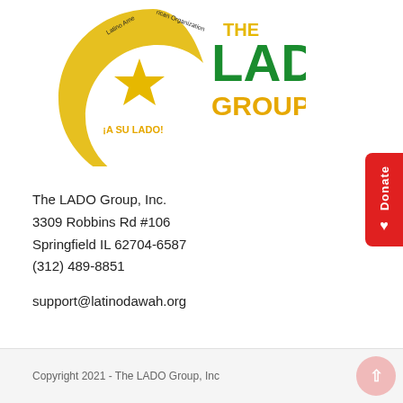[Figure (logo): The LADO Group, Inc. logo with crescent moon, star, and text 'THE LADO GROUP, INC.' and 'Latino American Organization ¡A SU LADO!']
The LADO Group, Inc.
3309 Robbins Rd #106
Springfield IL 62704-6587
(312) 489-8851

support@latinodawah.org
Copyright 2021 - The LADO Group, Inc